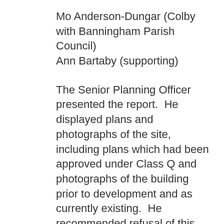Mo Anderson-Dungar (Colby with Banningham Parish Council)
Ann Bartaby (supporting)
The Senior Planning Officer presented the report.  He displayed plans and photographs of the site, including plans which had been approved under Class Q and photographs of the building prior to development and as currently existing.  He recommended refusal of this application as set out in the report.
The Interim Development Manager explained that the extent of rebuilding which was required meant that the